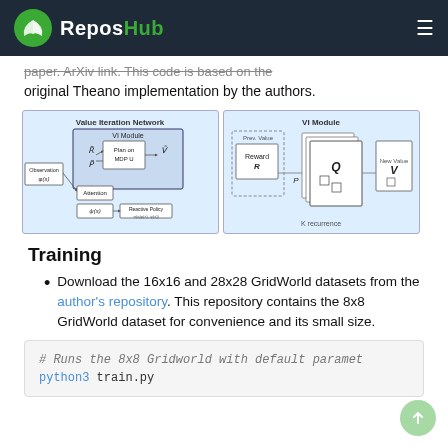ReposHub
paper. ArXiv link. This code is based on the original Theano implementation by the authors.
[Figure (schematic): Two diagrams: left shows Value Iteration Network with VI Module containing R, P, Plan on MDP U, V, Observation phi(s), Attention, psi(s), Reactive Policy. Right shows VI Module detail with Prev. Value, Reward R, Q, New Value V, P, K recurrence.]
Training
Download the 16x16 and 28x28 GridWorld datasets from the author's repository. This repository contains the 8x8 GridWorld dataset for convenience and its small size.
# Runs the 8x8 Gridworld with default paramet
python3 train.py